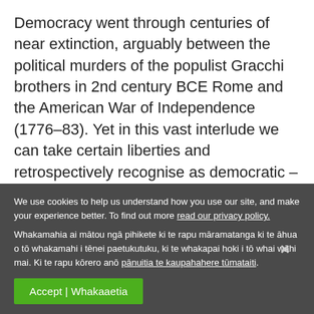Democracy went through centuries of near extinction, arguably between the political murders of the populist Gracchi brothers in 2nd century BCE Rome and the American War of Independence (1776–83). Yet in this vast interlude we can take certain liberties and retrospectively recognise as democratic – however limitedly and imperfectly – the Florentine Republic, its political pride and identity epitomised by Michelangelo's David...
We use cookies to help us understand how you use our site, and make your experience better. To find out more read our privacy policy. Whakamahia ai mātou ngā pihikete ki te rapu māramatanga ki te āhua o tō whakamahi i tēnei paetukutuku, ki te whakapai hoki i tō whai wāhi mai. Ki te rapu kōrero anō pānuitia te kaupahahere tūmataiti.
Accept | Whakaaetia